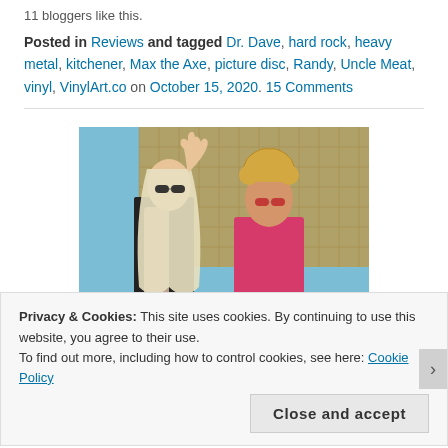11 bloggers like this.
Posted in Reviews and tagged Dr. Dave, hard rock, heavy metal, kitchener, Max the Axe, picture disc, Randy, Uncle Meat, vinyl, VinylArt.co on October 15, 2020. 15 Comments
[Figure (photo): Two men standing together; one with long blonde hair wearing black and a scarf making a rock sign, the other with curly hair wearing a bright pink shirt, both wearing sunglasses]
Privacy & Cookies: This site uses cookies. By continuing to use this website, you agree to their use.
To find out more, including how to control cookies, see here: Cookie Policy
Close and accept